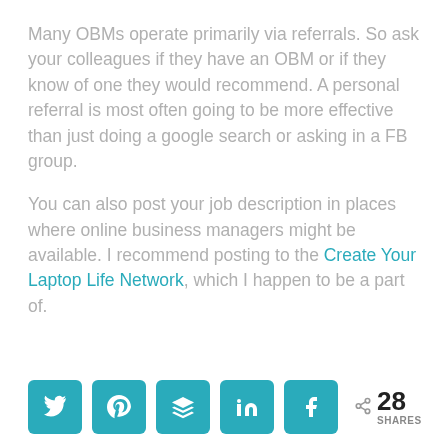Many OBMs operate primarily via referrals. So ask your colleagues if they have an OBM or if they know of one they would recommend. A personal referral is most often going to be more effective than just doing a google search or asking in a FB group.
You can also post your job description in places where online business managers might be available. I recommend posting to the Create Your Laptop Life Network, which I happen to be a part of.
[Figure (infographic): Social sharing buttons row: Twitter, Pinterest, Buffer/layers, LinkedIn, Facebook icons in teal rounded square buttons, followed by a share icon with '28 SHARES' count.]